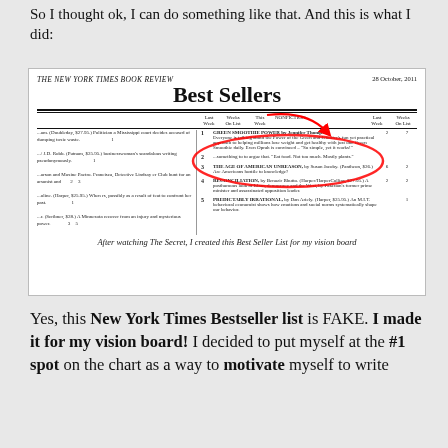So I thought ok, I can do something like that. And this is what I did:
[Figure (screenshot): A fake New York Times Book Review Best Sellers list dated 28 October, 2011, with 'GREEN SMOOTHIE POWER by Jennifer Thompson' circled in red at #1, and a red arrow pointing to it. Caption below reads: After watching The Secret, I created this Best Seller List for my vision board]
After watching The Secret, I created this Best Seller List for my vision board
Yes, this New York Times Bestseller list is FAKE. I made it for my vision board! I decided to put myself at the #1 spot on the chart as a way to motivate myself to write